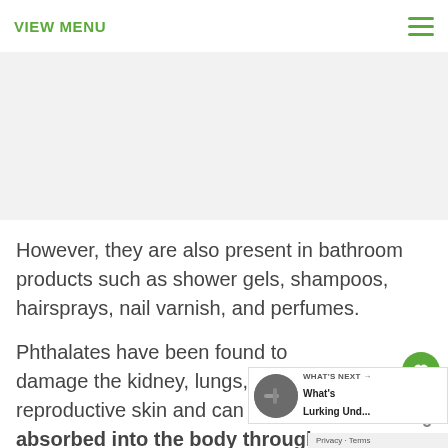VIEW MENU
[Figure (photo): Light gray placeholder image area for an article photo]
However, they are also present in bathroom products such as shower gels, shampoos, hairsprays, nail varnish, and perfumes.
Phthalates have been found to damage the kidney, lungs, liver, and reproductive skin and can be absorbed into the body through the inhalation or ingestion through liquids or